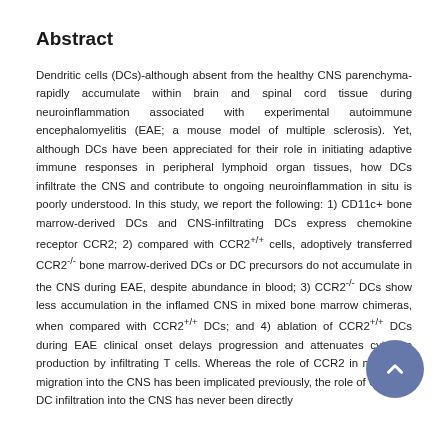Abstract
Dendritic cells (DCs)-although absent from the healthy CNS parenchyma-rapidly accumulate within brain and spinal cord tissue during neuroinflammation associated with experimental autoimmune encephalomyelitis (EAE; a mouse model of multiple sclerosis). Yet, although DCs have been appreciated for their role in initiating adaptive immune responses in peripheral lymphoid organ tissues, how DCs infiltrate the CNS and contribute to ongoing neuroinflammation in situ is poorly understood. In this study, we report the following: 1) CD11c+ bone marrow-derived DCs and CNS-infiltrating DCs express chemokine receptor CCR2; 2) compared with CCR2+/+ cells, adoptively transferred CCR2-/- bone marrow-derived DCs or DC precursors do not accumulate in the CNS during EAE, despite abundance in blood; 3) CCR2-/- DCs show less accumulation in the inflamed CNS in mixed bone marrow chimeras, when compared with CCR2+/+ DCs; and 4) ablation of CCR2+/+ DCs during EAE clinical onset delays progression and attenuates cytokine production by infiltrating T cells. Whereas the role of CCR2 in monocyte migration into the CNS has been implicated previously, the role of CCR2 in DC infiltration into the CNS has never been directly